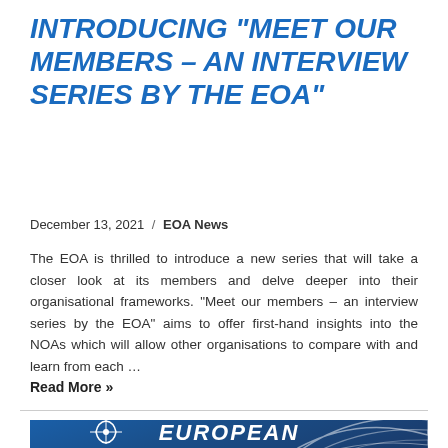INTRODUCING “MEET OUR MEMBERS – AN INTERVIEW SERIES BY THE EOA”
December 13, 2021 / EOA News
The EOA is thrilled to introduce a new series that will take a closer look at its members and delve deeper into their organisational frameworks. "Meet our members – an interview series by the EOA" aims to offer first-hand insights into the NOAs which will allow other organisations to compare with and learn from each …
Read More »
[Figure (photo): Blue banner image with curved arc design elements and European organization logo at bottom, showing 'EUROPEAN' text partially visible]